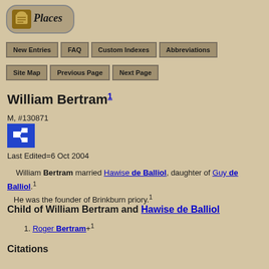[Figure (logo): Places logo with scroll icon in rounded rectangle]
New Entries | FAQ | Custom Indexes | Abbreviations
Site Map | Previous Page | Next Page
William Bertram1
M, #130871
[Figure (icon): Blue pedigree chart icon]
Last Edited=6 Oct 2004
William Bertram married Hawise de Balliol, daughter of Guy de Balliol.1 He was the founder of Brinkburn priory.1
Child of William Bertram and Hawise de Balliol
1. Roger Bertram+1
Citations